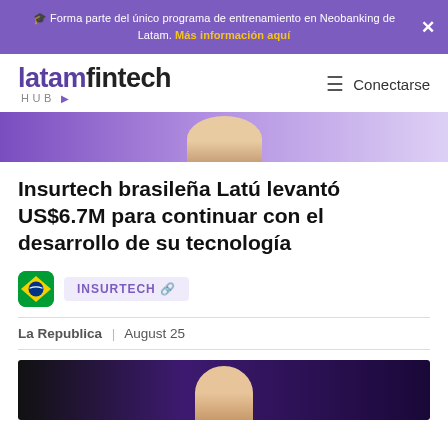🎓 Forma parte del único programa de entrenamiento en Neobanking de Latam. Más información aquí
[Figure (logo): latamfintech HUB logo with purple and black text]
[Figure (photo): Partial photo of a smiling person with purple background, cropped at top]
Insurtech brasileña Latú levantó US$6.7M para continuar con el desarrollo de su tecnología
INSURTECH 🔗
La Republica | August 25
[Figure (photo): Partial photo of a person with dark purple background, cropped at bottom]